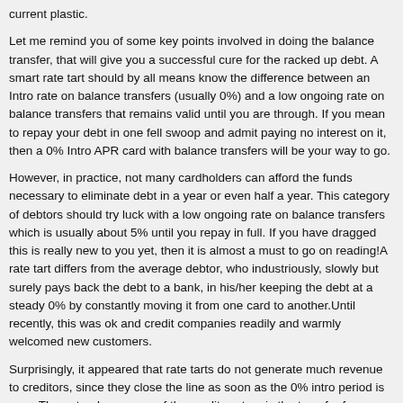current plastic.
Let me remind you of some key points involved in doing the balance transfer, that will give you a successful cure for the racked up debt. A smart rate tart should by all means know the difference between an Intro rate on balance transfers (usually 0%) and a low ongoing rate on balance transfers that remains valid until you are through. If you mean to repay your debt in one fell swoop and admit paying no interest on it, then a 0% Intro APR card with balance transfers will be your way to go.
However, in practice, not many cardholders can afford the funds necessary to eliminate debt in a year or even half a year. This category of debtors should try luck with a low ongoing rate on balance transfers which is usually about 5% until you repay in full. If you have dragged this is really new to you yet, then it is almost a must to go on reading!A rate tart differs from the average debtor, who industriously, slowly but surely pays back the debt to a bank, in his/her keeping the debt at a steady 0% by constantly moving it from one card to another.Until recently, this was ok and credit companies readily and warmly welcomed new customers.
Surprisingly, it appeared that rate tarts do not generate much revenue to creditors, since they close the line as soon as the 0% intro period is over. The natural response of the credit system is the transfer fee cap increase.Being previously 2% to 3% (which is, however, still kept by a number of issuers), the transfer fee may hike to as much as $75, spoiling the customer's interest in the deal.
Eliminating the caps on balance transfer fees is equally bad news for both, good